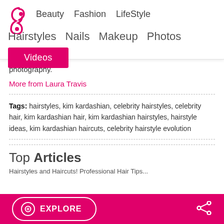Beauty  Fashion  LifeStyle  Hairstyles  Nails  Makeup  Photos  Videos
photography.
More from Laura Travis
Tags: hairstyles, kim kardashian, celebrity hairstyles, celebrity hair, kim kardashian hair, kim kardashian hairstyles, hairstyle ideas, kim kardashian haircuts, celebrity hairstyle evolution
Top Articles
EXPLORE